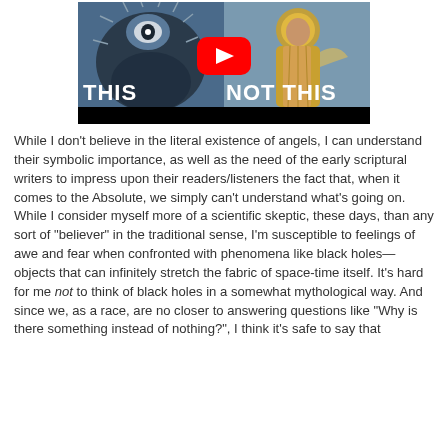[Figure (screenshot): YouTube video thumbnail showing 'THIS NOT THIS' text over images of an eerie multi-eyed creature on the left and a Byzantine icon angel on the right, with a red YouTube play button in the center]
While I don't believe in the literal existence of angels, I can understand their symbolic importance, as well as the need of the early scriptural writers to impress upon their readers/listeners the fact that, when it comes to the Absolute, we simply can't understand what's going on. While I consider myself more of a scientific skeptic, these days, than any sort of "believer" in the traditional sense, I'm susceptible to feelings of awe and fear when confronted with phenomena like black holes—objects that can infinitely stretch the fabric of space-time itself. It's hard for me not to think of black holes in a somewhat mythological way. And since we, as a race, are no closer to answering questions like "Why is there something instead of nothing?", I think it's safe to say that